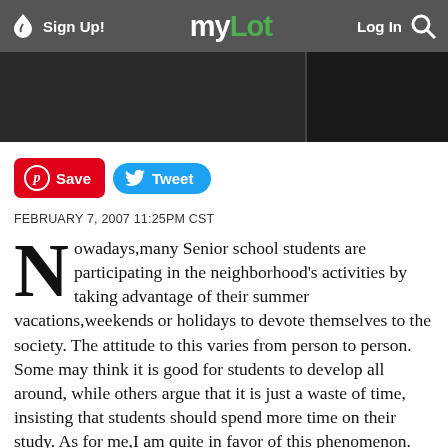Sign Up!   myLot   Log In
[Figure (photo): Partial image visible below navigation bar, dark background with a figure on right edge]
[Figure (infographic): Pinterest Save button (red) and Twitter Tweet button (blue)]
FEBRUARY 7, 2007 11:25PM CST
Nowadays,many Senior school students are participating in the neighborhood's activities by taking advantage of their summer vacations,weekends or holidays to devote themselves to the society. The attitude to this varies from person to person. Some may think it is good for students to develop all around, while others argue that it is just a waste of time, insisting that students should spend more time on their study. As for me,I am quite in favor of this phenomenon.
Just take my experience for example. Last summer, I acted as a volunteer in my neighborhood. I did a variety of jobs such as looking after the sick, the old and the young; writing wall newspapers; sorting and classifying